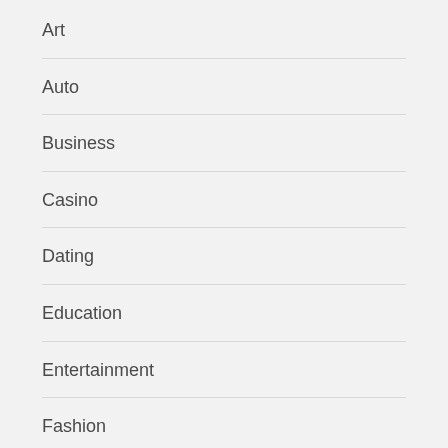Art
Auto
Business
Casino
Dating
Education
Entertainment
Fashion